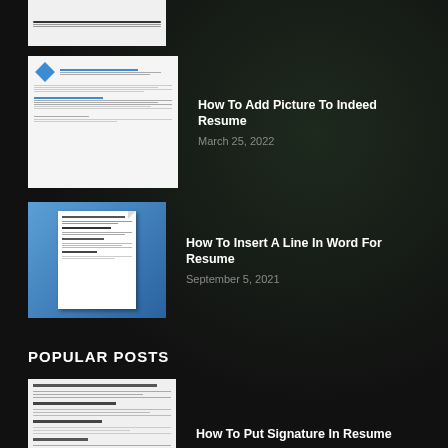[Figure (screenshot): Thumbnail of a resume document (partially visible at top)]
How To Add Picture To Indeed Resume
March 25, 2022
[Figure (screenshot): Thumbnail of a Word document with lines/table]
How To Insert A Line In Word For Resume
September 5, 2021
POPULAR POSTS
[Figure (screenshot): Thumbnail of a resume document with signature section]
How To Put Signature In Resume
March 5, 2022